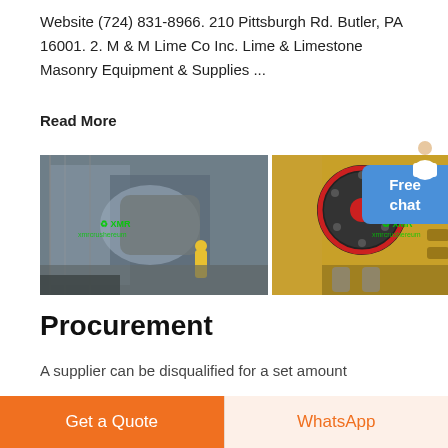Website (724) 831-8966. 210 Pittsburgh Rd. Butler, PA 16001. 2. M & M Lime Co Inc. Lime & Limestone Masonry Equipment & Supplies ...
Read More
[Figure (photo): Two industrial mining/crushing machine photos side by side with green recycling watermark overlay]
Procurement
A supplier can be disqualified for a set amount
Get a Quote
WhatsApp